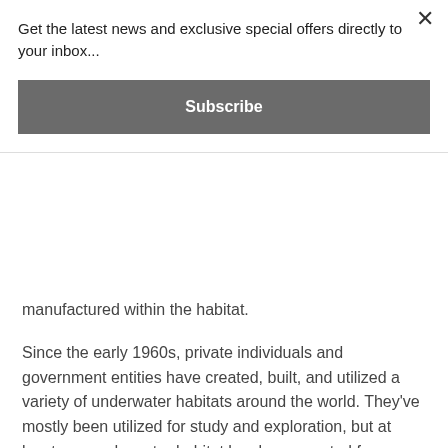manufactured within the habitat.
Get the latest news and exclusive special offers directly to your inbox...
Subscribe
Since the early 1960s, private individuals and government entities have created, built, and utilized a variety of underwater habitats around the world. They've mostly been utilized for study and exploration, but at least one underwater habitat has been created for enjoyment and tourism in recent years. The physiological processes and restrictions of breathing gases under pressure, as well as aquanaut and astronaut training and studies on marine ecosystems, have all been the focus of research. Access to and from